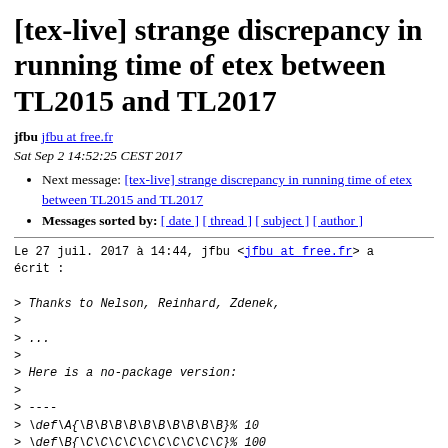[tex-live] strange discrepancy in running time of etex between TL2015 and TL2017
jfbu jfbu at free.fr
Sat Sep 2 14:52:25 CEST 2017
Next message: [tex-live] strange discrepancy in running time of etex between TL2015 and TL2017
Messages sorted by: [ date ] [ thread ] [ subject ] [ author ]
Le 27 juil. 2017 à 14:44, jfbu <jfbu at free.fr> a écrit :

> Thanks to Nelson, Reinhard, Zdenek,
>
> ...
>
> Here is a no-package version:
>
> ----
> \def\A{\B\B\B\B\B\B\B\B\B\B}% 10
> \def\B{\C\C\C\C\C\C\C\C\C\C}% 100